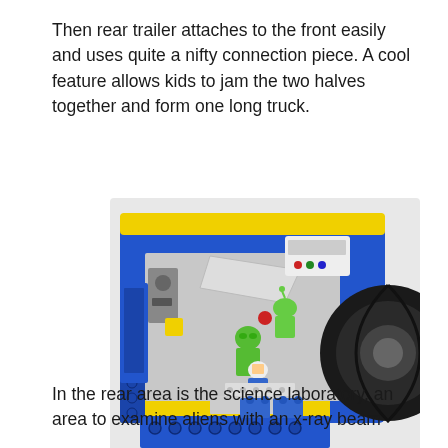Then rear trailer attaches to the front easily and uses quite a nifty connection piece. A cool feature allows kids to jam the two halves together and form one long truck.
[Figure (photo): A photograph of a LEGO truck set opened up showing the interior, with blue and yellow LEGO bricks forming the frame, large black wheels on the right, and LEGO minifigures inside including a green alien figure and a blue astronaut figure, along with various LEGO equipment pieces.]
In the rear area is the science laboratory, an area to examine aliens with an x-ray beam